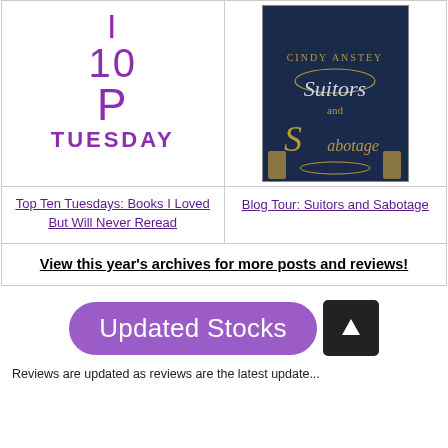[Figure (illustration): Top 10 Tuesday logo in purple text with large stylized letters I, 10, P, and TUESDAY]
Top Ten Tuesdays: Books I Loved But Will Never Reread
[Figure (illustration): Book cover of Suitors and Sabotage with dark navy background and gold decorative elements]
Blog Tour: Suitors and Sabotage
View this year's archives for more posts and reviews!
[Figure (illustration): Updated Stocks purple rounded button with white text]
Reviews are updated as reviews are the latest update...